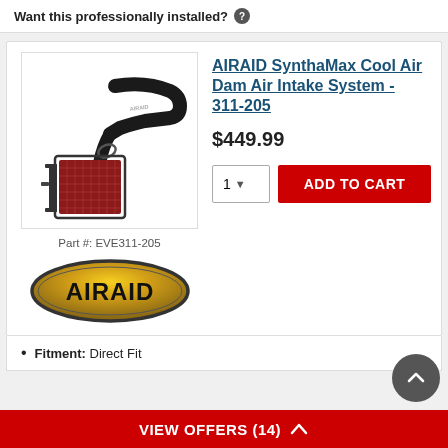Want this professionally installed? ?
AIRAID SynthaMax Cool Air Dam Air Intake System - 311-205
$449.99
[Figure (photo): AIRAID air intake system with black tubing and red filter element]
Part #: EVE311-205
[Figure (logo): AIRAID brand logo - gold oval with black text AIRAID]
Fitment: Direct Fit
VIEW OFFERS (14)